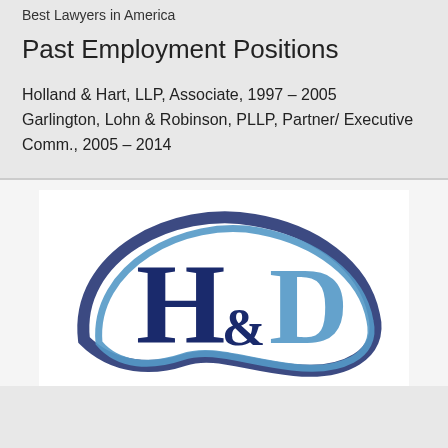Best Lawyers in America
Past Employment Positions
Holland & Hart, LLP, Associate, 1997 – 2005
Garlington, Lohn & Robinson, PLLP, Partner/ Executive Comm., 2005 – 2014
[Figure (logo): H&D law firm logo with dark navy serif letters H and D intertwined with a blue swoosh arc around them]